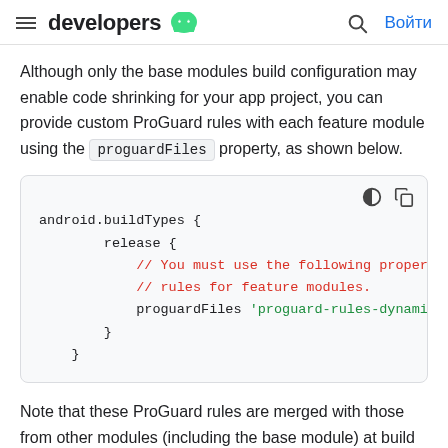developers [android logo] [search] Войти
Although only the base modules build configuration may enable code shrinking for your app project, you can provide custom ProGuard rules with each feature module using the proguardFiles property, as shown below.
[Figure (screenshot): Code block showing android.buildTypes { release { // You must use the following property t // rules for feature modules. proguardFiles 'proguard-rules-dynamic-fe } }]
Note that these ProGuard rules are merged with those from other modules (including the base module) at build time. So while each feature module may specify a new set of